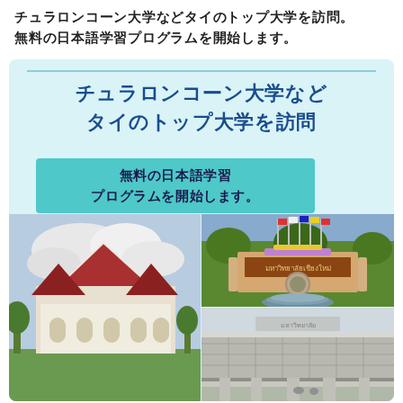チュラロンコーン大学などタイのトップ大学を訪問。無料の日本語学習プログラムを開始します。
[Figure (infographic): Light blue card with Japanese text title 'チュラロンコーン大学などタイのトップ大学を訪問' and subtitle box '無料の日本語学習プログラムを開始します。' followed by three photos of Thai universities including Chulalongkorn University building, Chiang Mai University gate with fountain, and another university building]
チュラロンコーン大学などタイのトップ大学を訪問。無料の日本語学習プログラムを開始します。